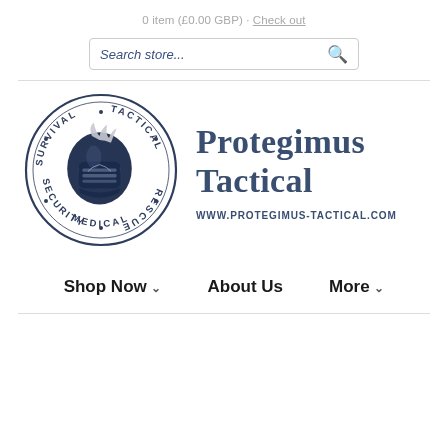0 item (£0.00 GBP) · Check out
[Figure (screenshot): Search store input box with magnifying glass icon]
[Figure (logo): Protegimus Tactical circular logo with knight helmet and text: SURVIVAL · TACTICAL · RESCUE · MEDICAL · SECURITY, alongside brand name PROTEGIMUS TACTICAL and URL www.protegimus-tactical.com]
Shop Now ∨   About Us   More ∨